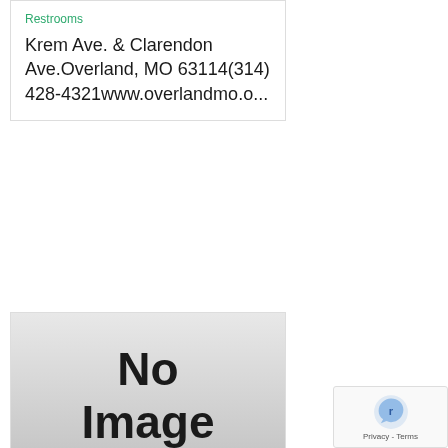Restrooms
Krem Ave. & Clarendon Ave.Overland, MO 63114(314) 428-4321www.overlandmo.o...
[Figure (illustration): No Image placeholder with gradient background, showing text 'No Image' in large bold black letters]
Legion Park
Overland, Parks, Playground, Restrooms, Softball, Volleyball
9655 Midland Blvd.Overland, MO 63114(314) 428-4321